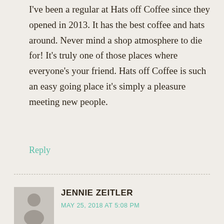I've been a regular at Hats off Coffee since they opened in 2013. It has the best coffee and hats around. Never mind a shop atmosphere to die for! It's truly one of those places where everyone's your friend. Hats off Coffee is such an easy going place it's simply a pleasure meeting new people.
Reply
JENNIE ZEITLER
MAY 25, 2018 AT 5:08 PM
Hats Off Coffee is simply the best! Awesome coffee and a host of other drinks